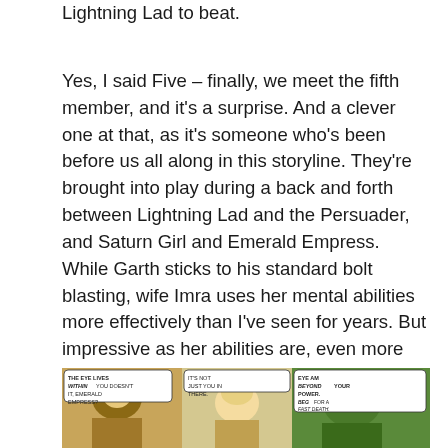Lightning Lad to beat.
Yes, I said Five – finally, we meet the fifth member, and it's a surprise. And a clever one at that, as it's someone who's been before us all along in this storyline. They're brought into play during a back and forth between Lightning Lad and the Persuader, and Saturn Girl and Emerald Empress. While Garth sticks to his standard bolt blasting, wife Imra uses her mental abilities more effectively than I've seen for years. But impressive as her abilities are, even more awesome is her grit in the face of the vastly powerful Empress.
[Figure (photo): Comic book panel showing three characters with speech bubbles: 'THE EYE LIVES WITHIN YOU DOESN'T IT, EMERALD EMPRESS?', 'IT'S NOT JUST YOU IN THERE.', 'EYE AM BEYOND YOUR POWER. BEG FOR A FAST DEATH.']